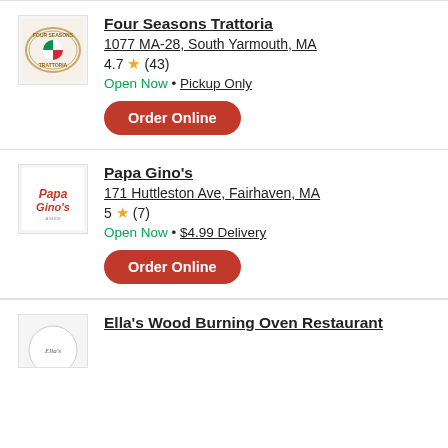[Figure (logo): Four Seasons Trattoria restaurant logo - circular badge with Italian flag colors]
Four Seasons Trattoria
1077 MA-28, South Yarmouth, MA
4.7 ★ (43)
Open Now • Pickup Only
Order Online
[Figure (logo): Papa Gino's restaurant logo - red italic script text on white background]
Papa Gino's
171 Huttleston Ave, Fairhaven, MA
5 ★ (7)
Open Now • $4.99 Delivery
Order Online
[Figure (logo): Ella's Wood Burning Oven Restaurant logo - partial view]
Ella's Wood Burning Oven Restaurant